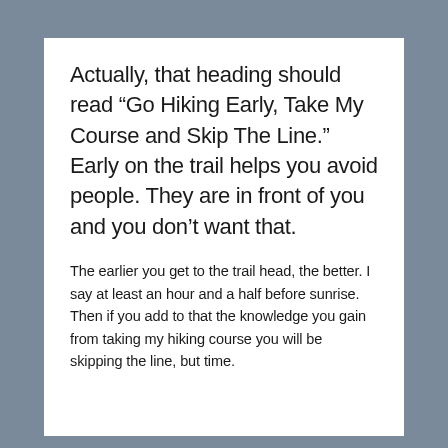[Figure (photo): Background photo of people outdoors, partially visible behind white card overlay]
Actually, that heading should read “Go Hiking Early, Take My Course and Skip The Line.” Early on the trail helps you avoid people. They are in front of you and you don’t want that.
The earlier you get to the trail head, the better. I say at least an hour and a half before sunrise. Then if you add to that the knowledge you gain from taking my hiking course you will be skipping the line, but time.